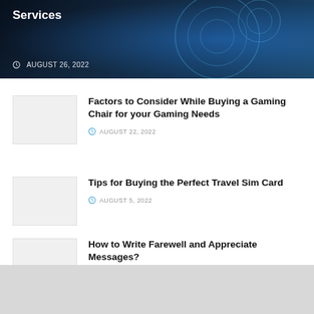[Figure (photo): Dark blue tech-themed hero banner with circular UI elements and silhouette figures]
Services
AUGUST 26, 2022
[Figure (photo): Thumbnail placeholder image for gaming chair article]
Factors to Consider While Buying a Gaming Chair for your Gaming Needs
AUGUST 22, 2022
[Figure (photo): Thumbnail placeholder image for travel sim card article]
Tips for Buying the Perfect Travel Sim Card
AUGUST 5, 2022
[Figure (photo): Thumbnail placeholder image for farewell messages article]
How to Write Farewell and Appreciate Messages?
AUGUST 5, 2022